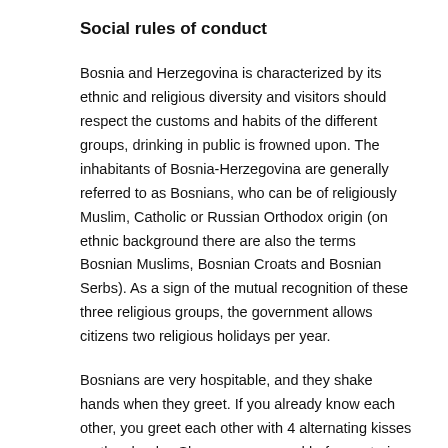Social rules of conduct
Bosnia and Herzegovina is characterized by its ethnic and religious diversity and visitors should respect the customs and habits of the different groups, drinking in public is frowned upon. The inhabitants of Bosnia-Herzegovina are generally referred to as Bosnians, who can be of religiously Muslim, Catholic or Russian Orthodox origin (on ethnic background there are also the terms Bosnian Muslims, Bosnian Croats and Bosnian Serbs). As a sign of the mutual recognition of these three religious groups, the government allows citizens two religious holidays per year.
Bosnians are very hospitable, and they shake hands when they greet. If you already know each other, you greet each other with 4 alternating kisses on the cheeks. Shoes are removed before entering the apartment.
Smoking: The nationwide smoking ban applies particularly to authorities, public buildings and restaurants. There are